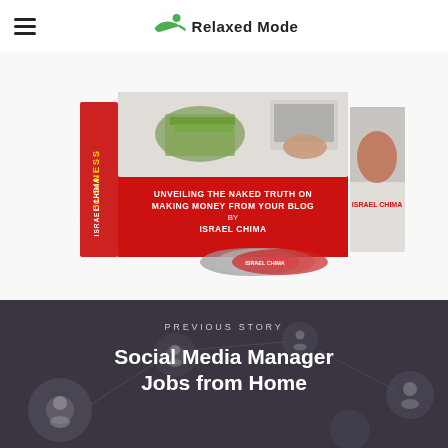Relaxed Mode
[Figure (photo): Book product bundle titled 'Unveiling the Naked Truth on Making Money From Your Blog by Israel Chima', with DVDs and a laptop, displayed on a white background.]
[Figure (photo): Dark blurred background image showing social media network icons and people silhouettes]
PREVIOUS STORY
Social Media Manager Jobs from Home